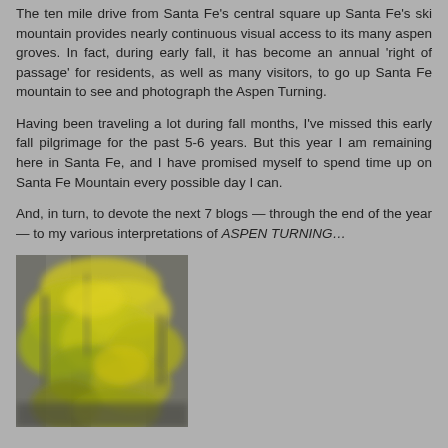The ten mile drive from Santa Fe's central square up Santa Fe's ski mountain provides nearly continuous visual access to its many aspen groves. In fact, during early fall, it has become an annual 'right of passage' for residents, as well as many visitors, to go up Santa Fe mountain to see and photograph the Aspen Turning.
Having been traveling a lot during fall months, I've missed this early fall pilgrimage for the past 5-6 years. But this year I am remaining here in Santa Fe, and I have promised myself to spend time up on Santa Fe Mountain every possible day I can.
And, in turn, to devote the next 7 blogs — through the end of the year — to my various interpretations of ASPEN TURNING…
[Figure (photo): A blurred/motion photograph of aspen trees with bright yellow and green foliage against a grey rocky background, depicting the Aspen Turning on Santa Fe Mountain.]